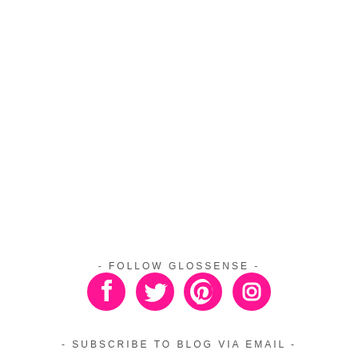- FOLLOW GLOSSENSE -
[Figure (illustration): Four social media icons in pink: Facebook, Twitter, Pinterest, Instagram]
- SUBSCRIBE TO BLOG VIA EMAIL -